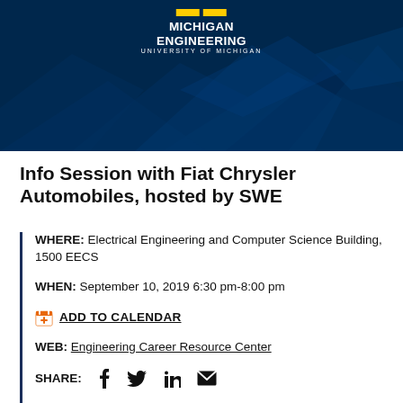[Figure (logo): Michigan Engineering University of Michigan logo on dark navy blue banner with geometric polygon shapes]
Info Session with Fiat Chrysler Automobiles, hosted by SWE
WHERE: Electrical Engineering and Computer Science Building, 1500 EECS
WHEN: September 10, 2019 6:30 pm-8:00 pm
ADD TO CALENDAR
WEB: Engineering Career Resource Center
SHARE: